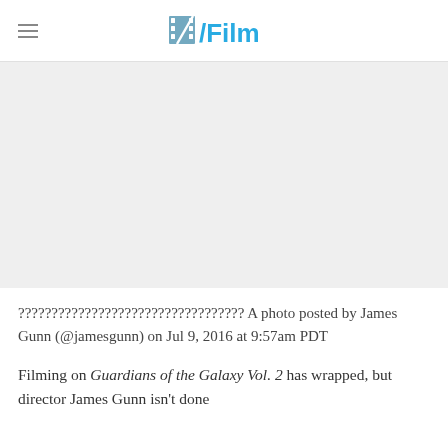/Film
[Figure (photo): Gray placeholder image area where an embedded Instagram photo would appear]
?????????????????????????????????? A photo posted by James Gunn (@jamesgunn) on Jul 9, 2016 at 9:57am PDT
Filming on Guardians of the Galaxy Vol. 2 has wrapped, but director James Gunn isn't done